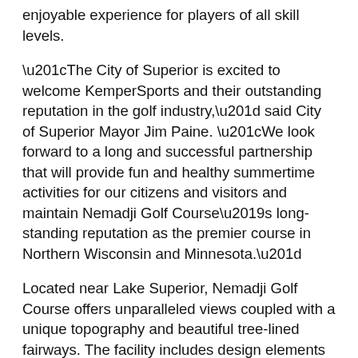enjoyable experience for players of all skill levels.
“The City of Superior is excited to welcome KemperSports and their outstanding reputation in the golf industry,” said City of Superior Mayor Jim Paine. “We look forward to a long and successful partnership that will provide fun and healthy summertime activities for our citizens and visitors and maintain Nemadji Golf Course’s long-standing reputation as the premier course in Northern Wisconsin and Minnesota.”
Located near Lake Superior, Nemadji Golf Course offers unparalleled views coupled with a unique topography and beautiful tree-lined fairways. The facility includes design elements from three distinctly different architects — Stanley Pelcher, Don Herfort and Roger Packard, who also designed courses at two other KemperSports-managed properties. The 36-hole facility can be played in a shorter 9-hole format or as an 18-hole